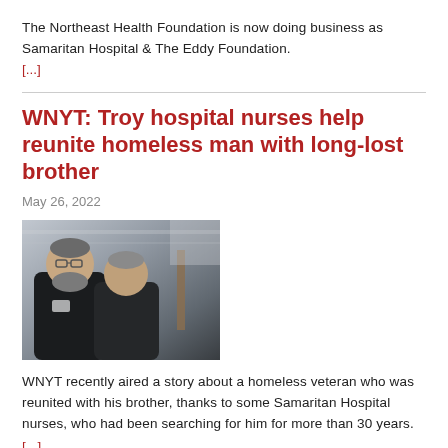The Northeast Health Foundation is now doing business as Samaritan Hospital & The Eddy Foundation. [...]
WNYT: Troy hospital nurses help reunite homeless man with long-lost brother
May 26, 2022
[Figure (photo): Two men sitting together, one with a beard and glasses wearing a dark shirt with a badge, the other in a dark shirt facing him]
WNYT recently aired a story about a homeless veteran who was reunited with his brother, thanks to some Samaritan Hospital nurses, who had been searching for him for more than 30 years. [...]